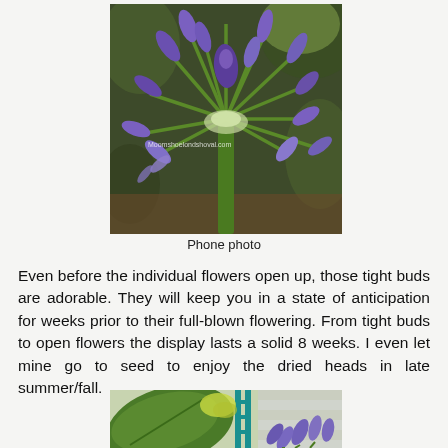[Figure (photo): Close-up photo of an Agapanthus flower cluster with tight purple-blue buds on green stems, with a watermark 'Moomshoelandshovel.com' in the lower left area of the image.]
Phone photo
Even before the individual flowers open up, those tight buds are adorable. They will keep you in a state of anticipation for weeks prior to their full-blown flowering. From tight buds to open flowers the display lasts a solid 8 weeks. I even let mine go to seed to enjoy the dried heads in late summer/fall.
[Figure (photo): Partial photo showing purple-blue agapanthus flowers, green foliage, and garden items including a teal ladder and house siding in the background.]